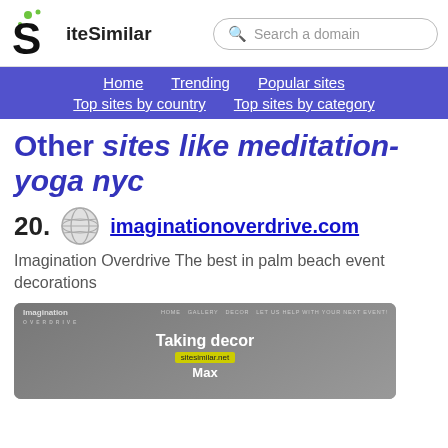SiteSimilar — Search a domain
Home | Trending | Popular sites | Top sites by country | Top sites by category
Other sites like meditation-yoga nyc
20. imaginationoverdrive.com
Imagination Overdrive The best in palm beach event decorations
[Figure (screenshot): Screenshot thumbnail of imaginationoverdrive.com showing the site header with logo, navigation (HOME, GALLERY, DECOR, LET US HELP WITH YOUR NEXT EVENT!), heading 'Taking decor', badge 'sitesimilar.net', and text 'Max']